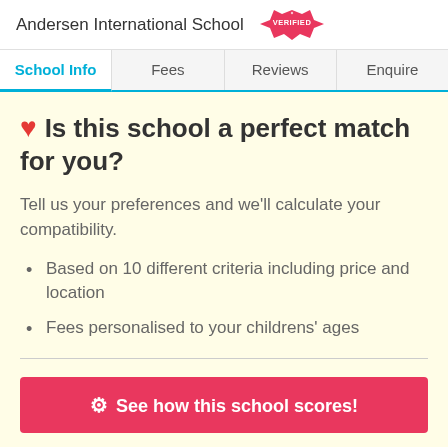Andersen International School VERIFIED
School Info | Fees | Reviews | Enquire
Is this school a perfect match for you?
Tell us your preferences and we'll calculate your compatibility.
Based on 10 different criteria including price and location
Fees personalised to your childrens' ages
See how this school scores!